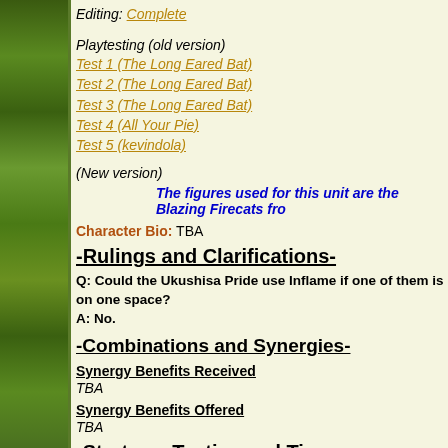Editing: Complete
Playtesting (old version)
Test 1 (The Long Eared Bat)
Test 2 (The Long Eared Bat)
Test 3 (The Long Eared Bat)
Test 4 (All Your Pie)
Test 5 (kevindola)
(New version)
The figures used for this unit are the Blazing Firecats fro
Character Bio: TBA
-Rulings and Clarifications-
Q: Could the Ukushisa Pride use Inflame if one of them is on one space?
A: No.
-Combinations and Synergies-
Synergy Benefits Received
TBA
Synergy Benefits Offered
TBA
-Strategy, Tactics and Tips-